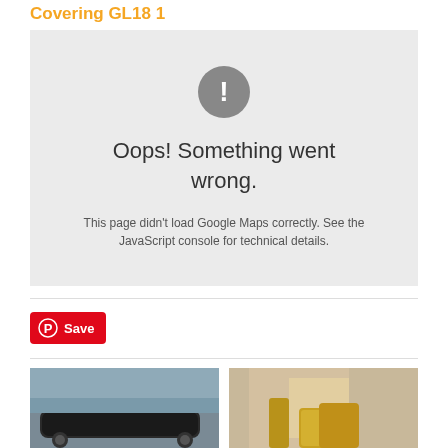Covering GL18 1
[Figure (other): Google Maps error box with grey background showing exclamation mark icon and error message: Oops! Something went wrong. This page didn't load Google Maps correctly. See the JavaScript console for technical details.]
[Figure (other): Pinterest Save button (red background with Pinterest logo and Save text)]
[Figure (photo): Photo of a dark car near rocky water scenery]
[Figure (photo): Photo of a person wearing yellow shoes with colourful background]